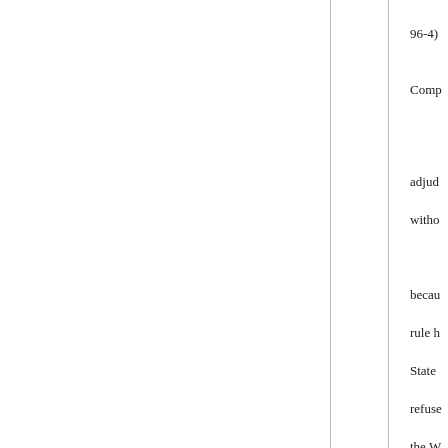96-4)
Comp
adjud
witho
becau
rule h
State
refuse
the W
Jan. 1
first, b
partic